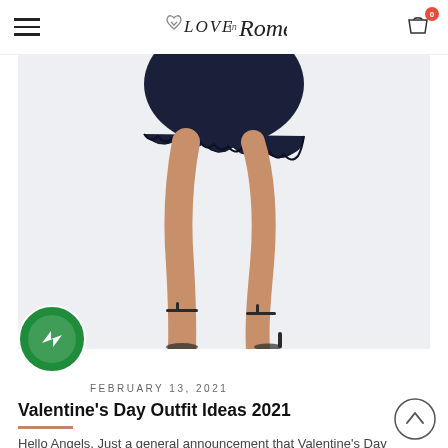LOVE in Rome — navigation header with hamburger menu and cart (0 items)
[Figure (photo): Lower body of a woman wearing a short navy blue lace dress and strappy heeled sandals, photographed against a light gray background]
[Figure (other): Facebook Messenger chat bubble icon — green circle with white lightning bolt chat icon]
FEBRUARY 13, 2021
Valentine's Day Outfit Ideas 2021
Hello Angels, Just a general announcement that Valentine's Day